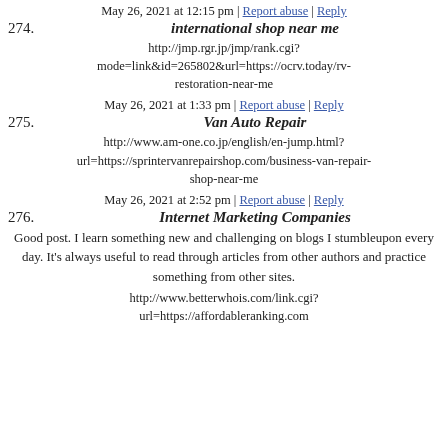274. international shop near me
May 26, 2021 at 12:15 pm | Report abuse | Reply
http://jmp.rgr.jp/jmp/rank.cgi?mode=link&id=265802&url=https://ocrv.today/rv-restoration-near-me
275. Van Auto Repair
May 26, 2021 at 1:33 pm | Report abuse | Reply
http://www.am-one.co.jp/english/en-jump.html?url=https://sprintervanrepairshop.com/business-van-repair-shop-near-me
276. Internet Marketing Companies
May 26, 2021 at 2:52 pm | Report abuse | Reply
Good post. I learn something new and challenging on blogs I stumbleupon every day. It's always useful to read through articles from other authors and practice something from other sites.
http://www.betterwhois.com/link.cgi?url=https://affordableranking.com